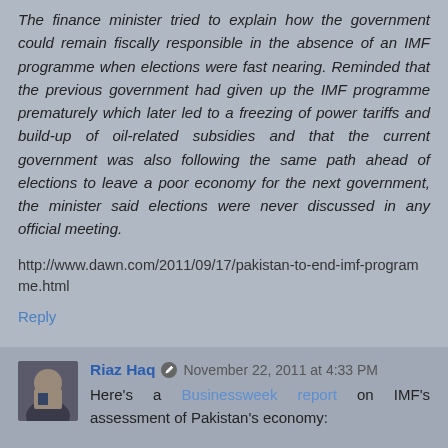The finance minister tried to explain how the government could remain fiscally responsible in the absence of an IMF programme when elections were fast nearing. Reminded that the previous government had given up the IMF programme prematurely which later led to a freezing of power tariffs and build-up of oil-related subsidies and that the current government was also following the same path ahead of elections to leave a poor economy for the next government, the minister said elections were never discussed in any official meeting.
http://www.dawn.com/2011/09/17/pakistan-to-end-imf-programme.html
Reply
Riaz Haq  November 22, 2011 at 4:33 PM
Here's a Businessweek report on IMF's assessment of Pakistan's economy: